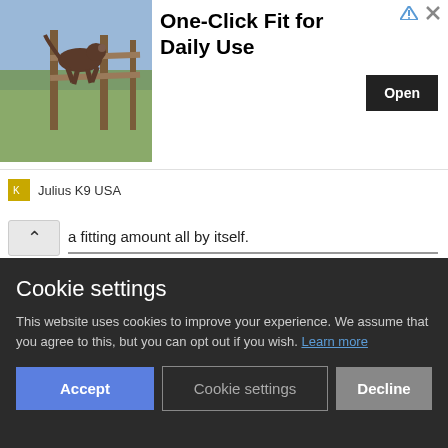[Figure (infographic): Advertisement banner for Julius K9 USA featuring a dog jumping over a fence in a field. Shows 'One-Click Fit for Daily Use' with an Open button.]
a fitting amount all by itself. You'll probably have to manually add some isopods at first to start the colony.
Of course, you can buy woodlice online. But it will be much easier to find them outside or in your basement. They usually hide under stones or wood. Generally, damp, dark places are a good place to start.
Cookie settings
This website uses cookies to improve your experience. We assume that you agree to this, but you can opt out if you wish. Learn more